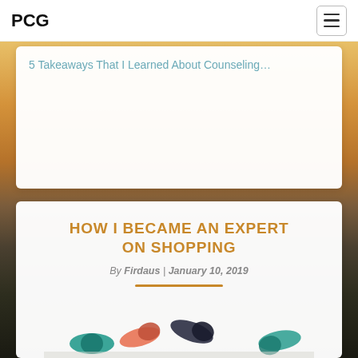PCG
5 Takeaways That I Learned About Counseling…
HOW I BECAME AN EXPERT ON SHOPPING
By Firdaus | January 10, 2019
[Figure (photo): Colorful medication capsules and pills scattered on a light surface]